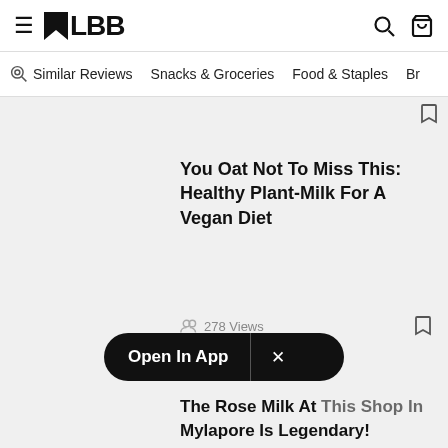LBB
Similar Reviews  Snacks & Groceries  Food & Staples  Br
You Oat Not To Miss This: Healthy Plant-Milk For A Vegan Diet
278 Views
Open In App
The Rose Milk At This Shop In Mylapore Is Legendary!